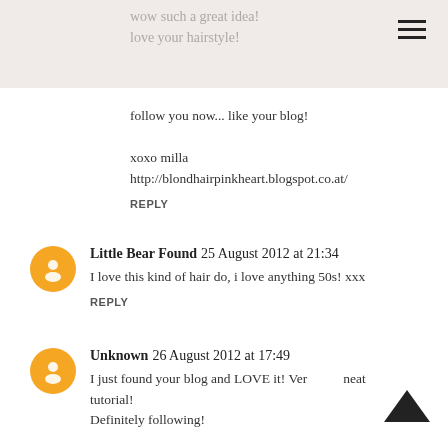wow such a great idea!
love your hairstyle!
follow you now... like your blog!

xoxo milla
http://blondhairpinkheart.blogspot.co.at/
REPLY
Little Bear Found 25 August 2012 at 21:34
I love this kind of hair do, i love anything 50s! xxx
REPLY
Unknown 26 August 2012 at 17:49
I just found your blog and LOVE it! Very neat tutorial!
Definitely following!